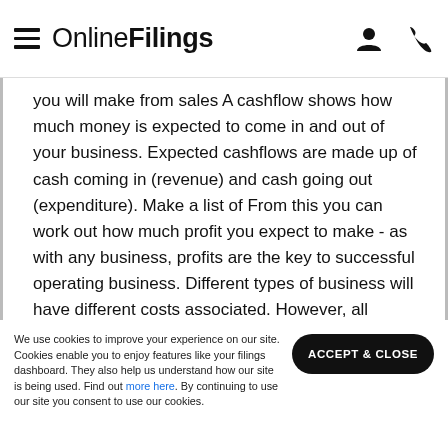OnlineFilings
you will make from sales A cashflow shows how much money is expected to come in and out of your business. Expected cashflows are made up of cash coming in (revenue) and cash going out (expenditure). Make a list of From this you can work out how much profit you expect to make - as with any business, profits are the key to successful operating business. Different types of business will have different costs associated. However, all companies will need some kind of investment to begin with. Your company may
We use cookies to improve your experience on our site. Cookies enable you to enjoy features like your filings dashboard. They also help us understand how our site is being used. Find out more here. By continuing to use our site you consent to use our cookies.